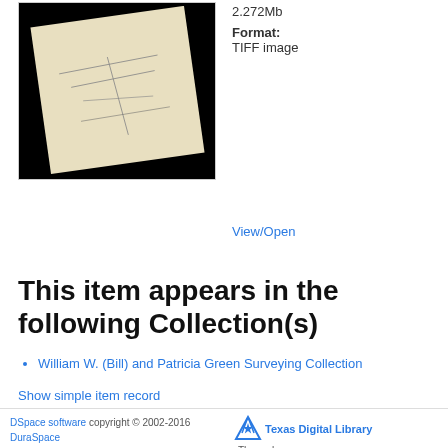[Figure (photo): Thumbnail of a surveying document/map on a black background]
2.272Mb
Format: TIFF image
View/Open
This item appears in the following Collection(s)
William W. (Bill) and Patricia Green Surveying Collection
Show simple item record
DSpace software copyright © 2002-2016  DuraSpace  Contact Us | Send Feedback  Theme by  Texas Digital Library  ATMIRE